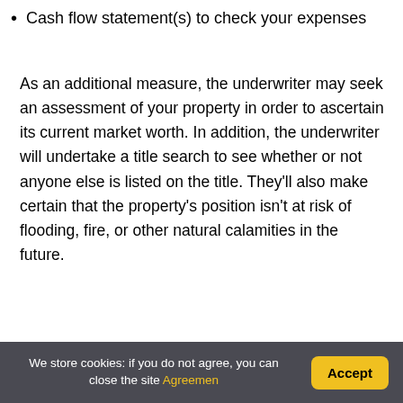Cash flow statement(s) to check your expenses
As an additional measure, the underwriter may seek an assessment of your property in order to ascertain its current market worth. In addition, the underwriter will undertake a title search to see whether or not anyone else is listed on the title. They’ll also make certain that the property’s position isn’t at risk of flooding, fire, or other natural calamities in the future.
You might be interested: What Is A Bridge Loan In Real Estate? (Perfect answer)
We store cookies: if you do not agree, you can close the site Agreemen